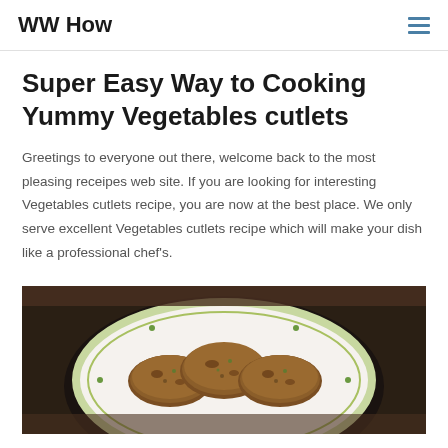WW How
Super Easy Way to Cooking Yummy Vegetables cutlets
Greetings to everyone out there, welcome back to the most pleasing receipes web site. If you are looking for interesting Vegetables cutlets recipe, you are now at the best place. We only serve excellent Vegetables cutlets recipe which will make your dish like a professional chef's.
[Figure (photo): Photo of vegetable cutlets served on a decorative plate placed on a dark background. Three golden-brown oval cutlets are visible on a white plate with green border design.]